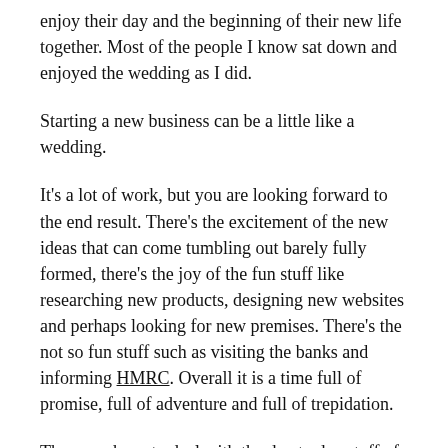enjoy their day and the beginning of their new life together. Most of the people I know sat down and enjoyed the wedding as I did.
Starting a new business can be a little like a wedding.
It's a lot of work, but you are looking forward to the end result. There's the excitement of the new ideas that can come tumbling out barely fully formed, there's the joy of the fun stuff like researching new products, designing new websites and perhaps looking for new premises. There's the not so fun stuff such as visiting the banks and informing HMRC. Overall it is a time full of promise, full of adventure and full of trepidation.
Then you have to deal with the day to day stuff of running a business. In the service industry, you